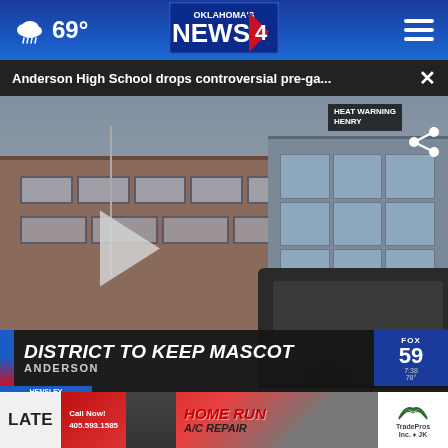69° Oklahoma's News 4
Anderson High School drops controversial pre-ga...
[Figure (screenshot): Video thumbnail of Anderson High School building exterior with play button overlay. Lower third shows 'DISTRICT TO KEEP MASCOT / ANDERSON'. Weather ticker shows 'RIGHT NOW 75°'. FOX badge shows '59 7:38 78°'. Heat Warning Henry badge visible top right.]
DISTRICT TO KEEP MASCOT
ANDERSON
RIGHT NOW  75°
HEAT WARNING HENRY
HOME RUN A/C REPAIR
Call Now! 405.593.1585
LATE